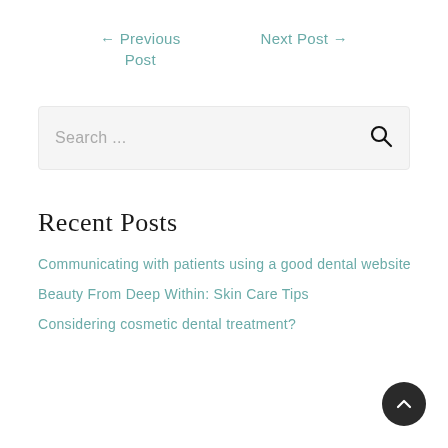← Previous Post
Next Post →
Search ...
Recent Posts
Communicating with patients using a good dental website
Beauty From Deep Within: Skin Care Tips
Considering cosmetic dental treatment?